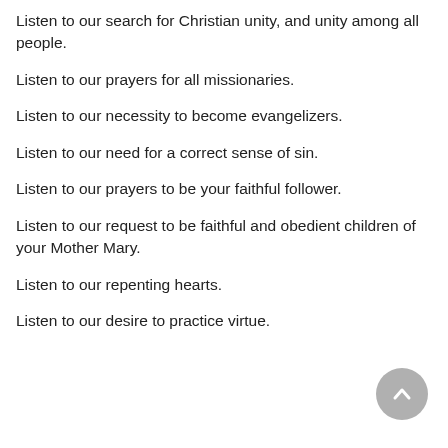Listen to our search for Christian unity, and unity among all people.
Listen to our prayers for all missionaries.
Listen to our necessity to become evangelizers.
Listen to our need for a correct sense of sin.
Listen to our prayers to be your faithful follower.
Listen to our request to be faithful and obedient children of your Mother Mary.
Listen to our repenting hearts.
Listen to our desire to practice virtue.